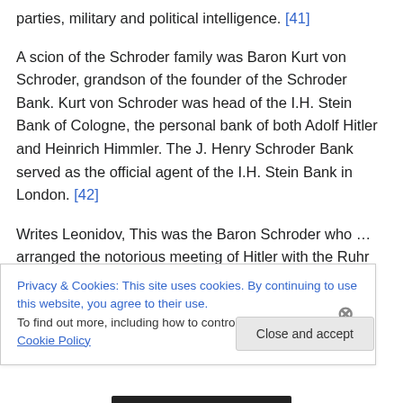parties, military and political intelligence. [41]
A scion of the Schroder family was Baron Kurt von Schroder, grandson of the founder of the Schroder Bank. Kurt von Schroder was head of the I.H. Stein Bank of Cologne, the personal bank of both Adolf Hitler and Heinrich Himmler. The J. Henry Schroder Bank served as the official agent of the I.H. Stein Bank in London. [42]
Writes Leonidov, This was the Baron Schroder who … arranged the notorious meeting of Hitler with the Ruhr kings when the latter decided to turn over power to the
Privacy & Cookies: This site uses cookies. By continuing to use this website, you agree to their use.
To find out more, including how to control cookies, see here: Cookie Policy